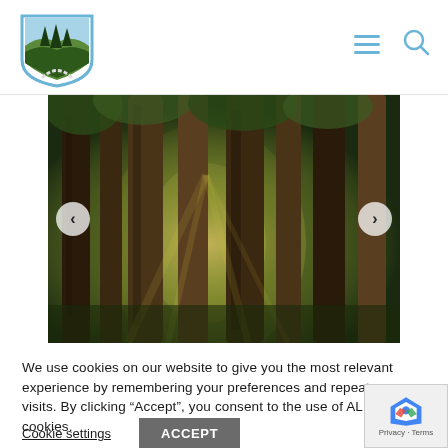[Figure (logo): Shield-shaped logo with pine trees, a road, and water/sky elements in blue and green]
[Figure (photo): Forest photo showing tall redwood trees with sunlight filtering through, navigation arrows on left and right sides]
We use cookies on our website to give you the most relevant experience by remembering your preferences and repeat visits. By clicking “Accept”, you consent to the use of ALL the cookies.
Cookie settings
ACCEPT